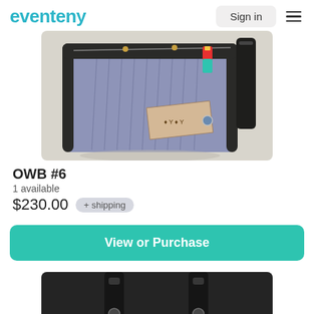eventeny | Sign in
[Figure (photo): Photo of a blue-grey messenger/shoulder bag (OWB #6) with black leather trim, a colorful tag, and a decorative patch, shown on a light background.]
OWB #6
1 available
$230.00 + shipping
View or Purchase
[Figure (photo): Partial photo of a dark-colored bag showing straps/handles against a dark background.]